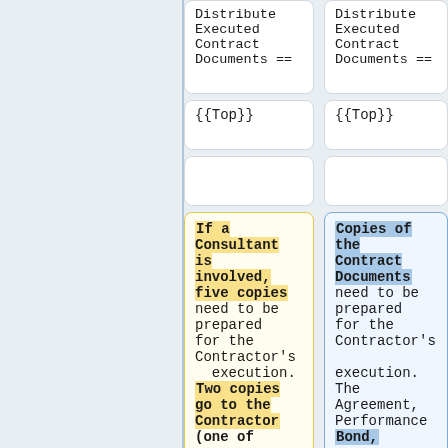Distribute Executed Contract Documents ==
Distribute Executed Contract Documents ==
{{Top}}
{{Top}}
If a Consultant is involved, five copies need to be prepared for the Contractor's execution. Two copies go to the Contractor (one of
Copies of the Contract Documents need to be prepared for the Contractor's execution. The Agreement, Performance Bond,